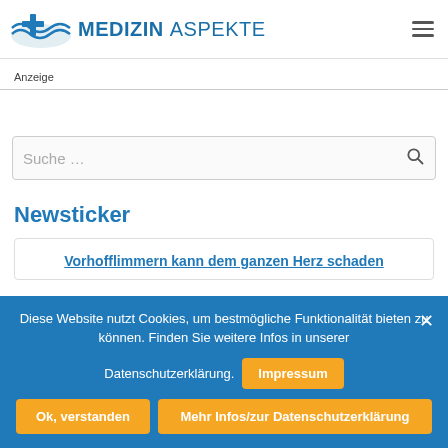MEDIZIN ASPEKTE
Anzeige
Suche …
Newsticker
Vorhofflimmern kann dem ganzen Herz schaden
Diese Website nutzt Cookies, um bestmögliche Funktionalität bieten zu können. Finden Sie weitere Infos in unserer Datenschutzerklärung.
Impressum
Ok, verstanden
Mehr Infos/zur Datenschutzerklärung